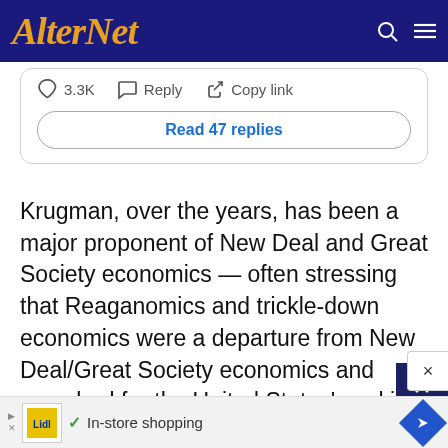AlterNet
[Figure (screenshot): Tweet card showing like count 3.3K, Reply button, Copy link button, and Read 47 replies button]
Krugman, over the years, has been a major proponent of New Deal and Great Society economics — often stressing that Reaganomics and trickle-down economics were a departure from New Deal/Great Society economics and were bad for the United States' working class. And in his column, Krugman
[Figure (infographic): Advertisement bar showing Lidl logo and 'In-store shopping' text with navigation arrow]